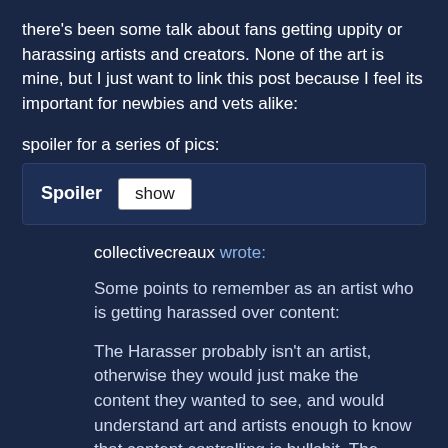there's been some talk about fans getting uppity or harassing artists and creators. None of the art is mine, but I just want to link this post because I feel its important for newbies and vets alike:
spoiler for a series of pics:
Spoiler  show
collectivecreaux wrote:
Some points to remember as an artist who is getting harassed over content:
The Harasser probably isn't an artist, otherwise they would just make the content they wanted to see, and would understand art and artists enough to know that content controlling is bullshit. The button that silences this person has more power than this person will ever have. Use it. Blocking people who upset or offend you is A-okay. And the only way you can see them getting their diapers in a twist is if you go looking, which is on